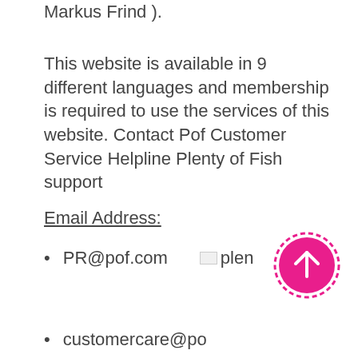Markus Frind ).
This website is available in 9 different languages and membership is required to use the services of this website. Contact Pof Customer Service Helpline Plenty of Fish support
Email Address:
PR@pof.com
customercare@po